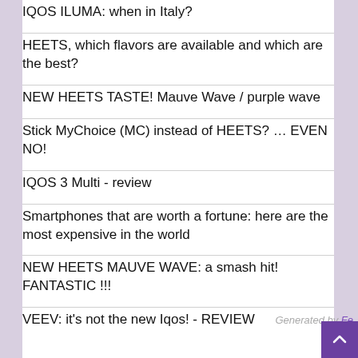IQOS ILUMA: when in Italy?
HEETS, which flavors are available and which are the best?
NEW HEETS TASTE! Mauve Wave / purple wave
Stick MyChoice (MC) instead of HEETS? … EVEN NO!
IQOS 3 Multi - review
Smartphones that are worth a fortune: here are the most expensive in the world
NEW HEETS MAUVE WAVE: a smash hit! FANTASTIC !!!
VEEV: it's not the new Iqos! - REVIEW
Generated by Fe